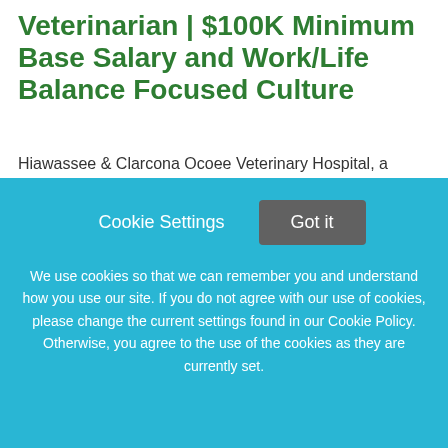Veterinarian | $100K Minimum Base Salary and Work/Life Balance Focused Culture
Hiawassee & Clarcona Ocoee Veterinary Hospital, a CareVet partner, has an opportunity to join our thriving one doctor practice in Orlando, FL! This small animal practice is looking for a dynamic full time Veterinarian to
This job listing is no longer active.
Cookie Settings   Got it

We use cookies so that we can remember you and understand how you use our site. If you do not agree with our use of cookies, please change the current settings found in our Cookie Policy. Otherwise, you agree to the use of the cookies as they are currently set.